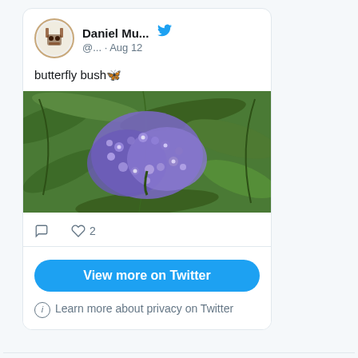Daniel Mu... @... · Aug 12
butterfly bush 🦋
[Figure (photo): Close-up photo of purple/lavender butterfly bush (Buddleia) flowers with green foliage in background]
♡ 2
View more on Twitter
ⓘ Learn more about privacy on Twitter